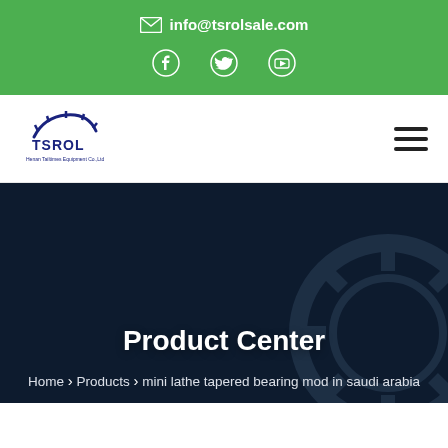info@tsrolsale.com
[Figure (logo): Social media icons: Facebook, Twitter, YouTube in white on green background]
[Figure (logo): TSROL company logo with gear icon]
Product Center
Home › Products › mini lathe tapered bearing mod in saudi arabia